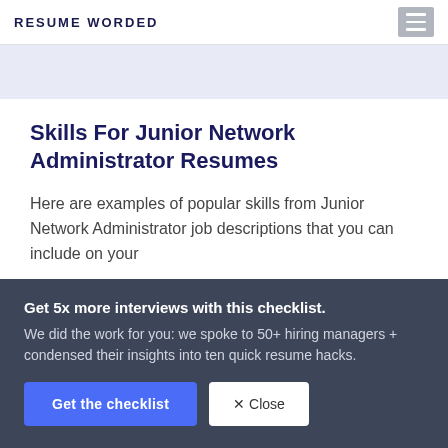RESUME WORDED
Skills For Junior Network Administrator Resumes
Here are examples of popular skills from Junior Network Administrator job descriptions that you can include on your
Get 5x more interviews with this checklist.
We did the work for you: we spoke to 50+ hiring managers + condensed their insights into ten quick resume hacks.
Get the checklist
✕ Close